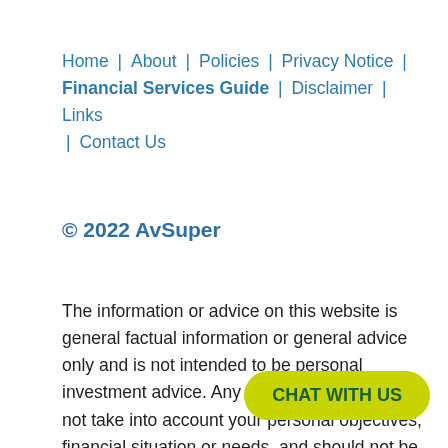Home | About | Policies | Privacy Notice | Financial Services Guide | Disclaimer | Links | Contact Us
© 2022 AvSuper
The information or advice on this website is general factual information or general advice only and is not intended to be personal investment advice. Any general advice does not take into account your personal objectives, financial situation or needs, and should not be taken as personal investment advice or personal advice in relation to insura... matter relating to an AvSup... you make any decision about acquiring or
[Figure (other): Yellow-green chat button with text 'CHAT WITH US']